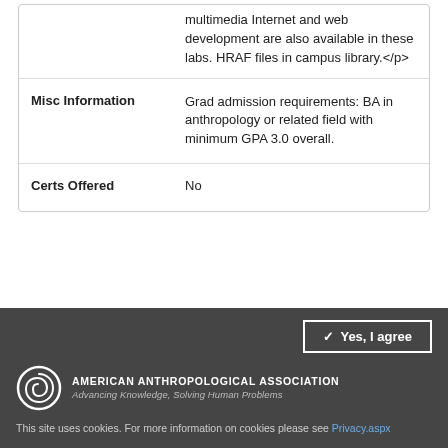|  | multimedia Internet and web development are also available in these labs. HRAF files in campus library.</p> |
| Misc Information | Grad admission requirements: BA in anthropology or related field with minimum GPA 3.0 overall. |
| Certs Offered | No |
[Figure (logo): American Anthropological Association spiral logo with text: AMERICAN ANTHROPOLOGICAL ASSOCIATION, Advancing Knowledge, Solving Human Problems]
Yes, I agree (button)
This site uses cookies. For more information on cookies please see Privacy.aspx